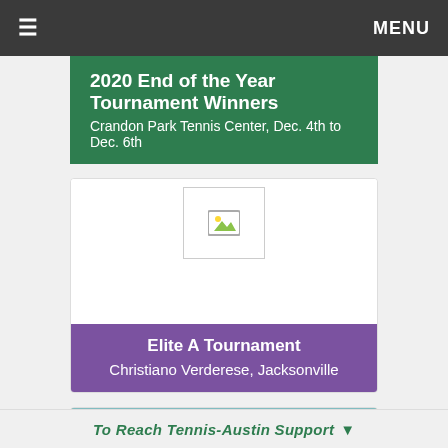≡  MENU
2020 End of the Year Tournament Winners
Crandon Park Tennis Center, Dec. 4th to Dec. 6th
[Figure (photo): Photo placeholder for Elite A Tournament winner]
Elite A Tournament
Christiano Verderese, Jacksonville
[Figure (photo): Outdoor tennis court photo with player and trees in background]
To Reach Tennis-Austin Support ▼